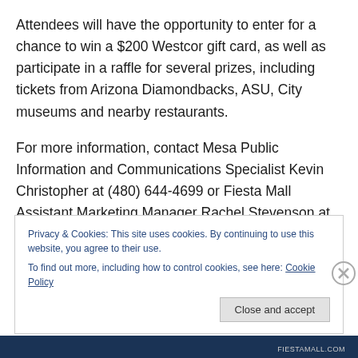Attendees will have the opportunity to enter for a chance to win a $200 Westcor gift card, as well as participate in a raffle for several prizes, including tickets from Arizona Diamondbacks, ASU, City museums and nearby restaurants.
For more information, contact Mesa Public Information and Communications Specialist Kevin Christopher at (480) 644-4699 or Fiesta Mall Assistant Marketing Manager Rachel Stevenson at (480) 833-5587.
Privacy & Cookies: This site uses cookies. By continuing to use this website, you agree to their use.
To find out more, including how to control cookies, see here: Cookie Policy
Close and accept